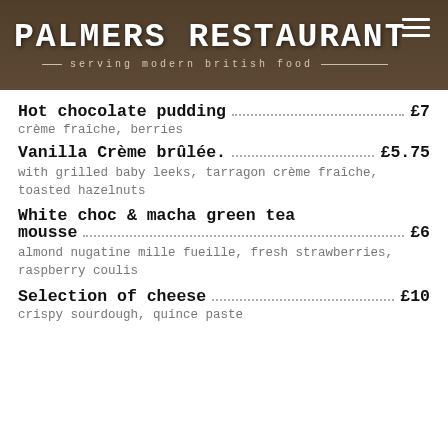PALMERS RESTAURANT — serving modern british food
Hot chocolate pudding £7
crème fraîche, berries
Vanilla Crème brûlée. £5.75
with grilled baby leeks, tarragon crème fraîche, toasted hazelnuts
White choc & macha green tea mousse £6
almond nugatine mille fueille, fresh strawberries, raspberry coulis
Selection of cheese £10
crispy sourdough, quince paste